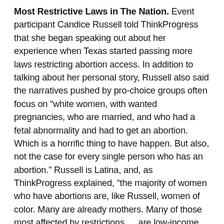Most Restrictive Laws in The Nation.  Event participant Candice Russell told ThinkProgress that she began speaking out about her experience when Texas started passing more laws restricting abortion access. In addition to talking about her personal story, Russell also said the narratives pushed by pro-choice groups often focus on “white women, with wanted pregnancies, who are married, and who had a fetal abnormality and had to get an abortion. Which is a horrific thing to have happen. But also, not the case for every single person who has an abortion.” Russell is Latina, and, as ThinkProgress explained, “the majority of women who have abortions are, like Russell, women of color. Many are already mothers. Many of those most affected by restrictions … are low-income women.” ThinkProgress also highlighted that “the vast majority of women who receive abortions are extremely certain about their decision” in contrast to a common right-wing media argument that women often change their minds about, or regret seeking, an abortion. From the March 21 article: